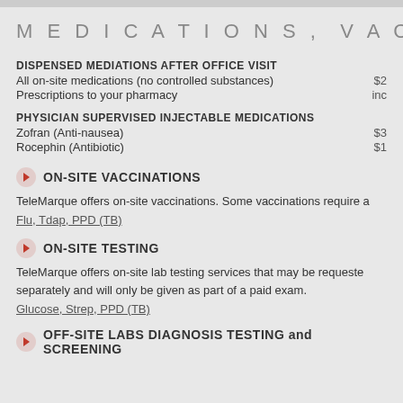MEDICATIONS, VACCINATIONS,
DISPENSED MEDIATIONS AFTER OFFICE VISIT
All on-site medications (no controlled substances)
Prescriptions to your pharmacy
PHYSICIAN SUPERVISED INJECTABLE MEDICATIONS
Zofran (Anti-nausea)
Rocephin (Antibiotic)
ON-SITE VACCINATIONS
TeleMarque offers on-site vaccinations. Some vaccinations require a
Flu, Tdap, PPD (TB)
ON-SITE TESTING
TeleMarque offers on-site lab testing services that may be requested separately and will only be given as part of a paid exam.
Glucose, Strep, PPD (TB)
OFF-SITE LABS DIAGNOSIS TESTING and SCREENING